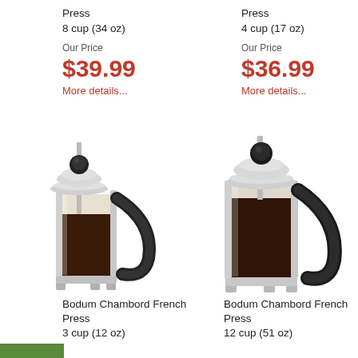Press
8 cup (34 oz)
Our Price
$39.99
More details...
Press
4 cup (17 oz)
Our Price
$36.99
More details...
[Figure (photo): Bodum Chambord French Press coffee maker, small size, chrome and black, filled with coffee]
[Figure (photo): Bodum Chambord French Press coffee maker, large size, chrome and black, filled with coffee]
Bodum Chambord French Press
3 cup (12 oz)
Bodum Chambord French Press
12 cup (51 oz)